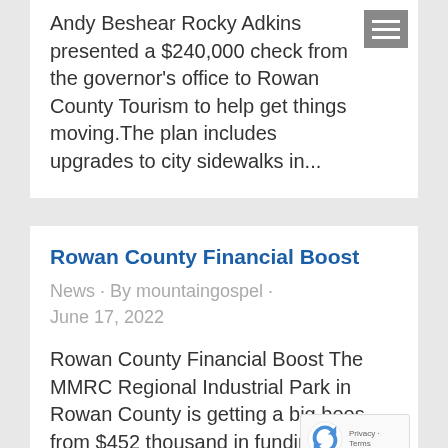Andy Beshear Rocky Adkins presented a $240,000 check from the governor's office to Rowan County Tourism to help get things moving. The plan includes upgrades to city sidewalks in...
Rowan County Financial Boost
News · By mountaingospel · June 17, 2022
Rowan County Financial Boost The MMRC Regional Industrial Park in Rowan County is getting a big boost from $452 thousand in funding. A bit